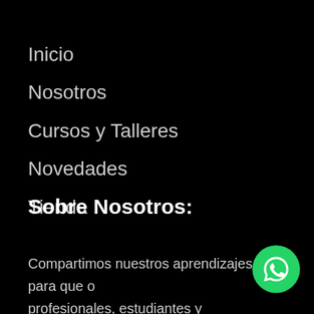Inicio
Nosotros
Cursos y Talleres
Novedades
Tienda
Sobre Nosotros:
Compartimos nuestros aprendizajes para que o profesionales, estudiantes y ciudadanos conozcan y